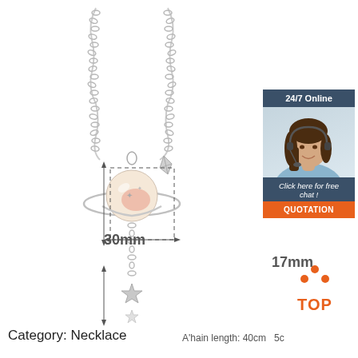[Figure (photo): Silver planet necklace with measurement arrows showing 30mm height and 17mm width of the pendant. The pendant features a pink/peach planet with Saturn-like ring, a small paper plane charm, and a dangling star charm on a silver chain.]
[Figure (photo): Customer service chat widget showing a woman with headset, '24/7 Online' header in dark blue, 'Click here for free chat!' text, and orange QUOTATION button.]
[Figure (infographic): Orange and red 'TOP' icon with upward pointing arrow dots above the word TOP in bold orange text.]
30mm
17mm
Category: Necklace
A'hain length: 40cm   5c